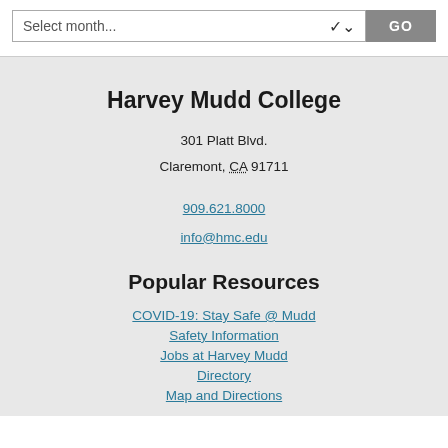Select month...
Harvey Mudd College
301 Platt Blvd.
Claremont, CA 91711
909.621.8000
info@hmc.edu
Popular Resources
COVID-19: Stay Safe @ Mudd
Safety Information
Jobs at Harvey Mudd
Directory
Map and Directions